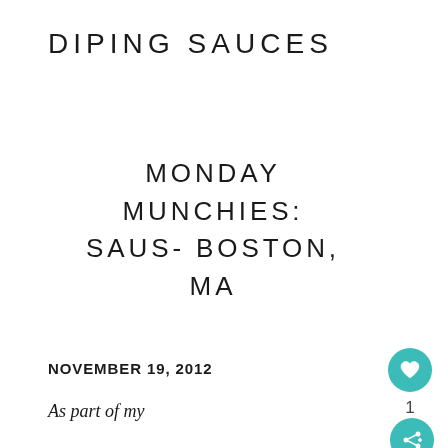DIPING SAUCES
MONDAY MUNCHIES: SAUS- BOSTON, MA
NOVEMBER 19, 2012
As part of my Monday Munchies series, I will feature a different eatery for a review on the first